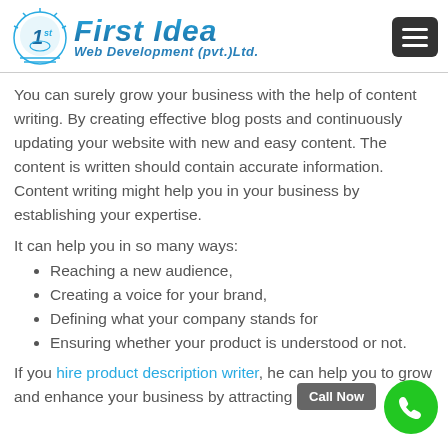[Figure (logo): First Idea Web Development (pvt.) Ltd. logo with circular 1st icon and blue stylized text]
You can surely grow your business with the help of content writing. By creating effective blog posts and continuously updating your website with new and easy content. The content is written should contain accurate information. Content writing might help you in your business by establishing your expertise.
It can help you in so many ways:
Reaching a new audience,
Creating a voice for your brand,
Defining what your company stands for
Ensuring whether your product is understood or not.
If you hire product description writer, he can help you to grow and enhance your business by attracting a